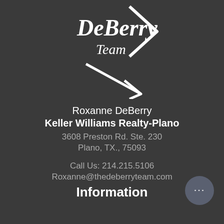[Figure (logo): DeBerry Team logo with white script text and chevron/arrow graphic on dark background]
Roxanne DeBerry
Keller Williams Realty-Plano
3608 Preston Rd. Ste. 230
Plano, TX., 75093
Call Us: 214.215.5106
Roxanne@thedeberryteam.com
Information
[Figure (illustration): Chat bubble icon with three dots, circular dark gray button in bottom right corner]